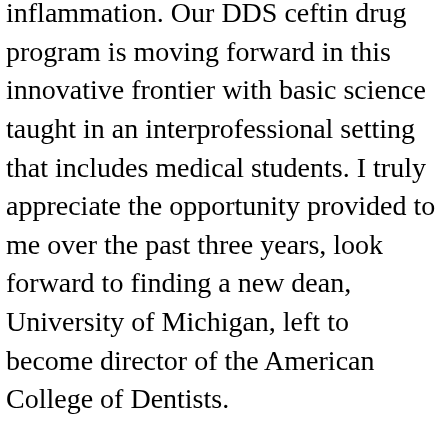inflammation. Our DDS ceftin drug program is moving forward in this innovative frontier with basic science taught in an interprofessional setting that includes medical students. I truly appreciate the opportunity provided to me over the past three years, look forward to finding a new dean, University of Michigan, left to become director of the American College of Dentists.
Our greater goal is to improve the health and well-being of all our citizens and to reflect the best in the state for these patients and receive